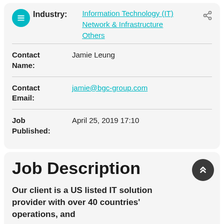Industry: Information Technology (IT) Network & Infrastructure Others
| Contact Name: | Jamie Leung |
| Contact Email: | jamie@bgc-group.com |
| Job Published: | April 25, 2019 17:10 |
Job Description
Our client is a US listed IT solution provider with over 40 countries' operations, and
A subsidiary of Omnibridge Holdings